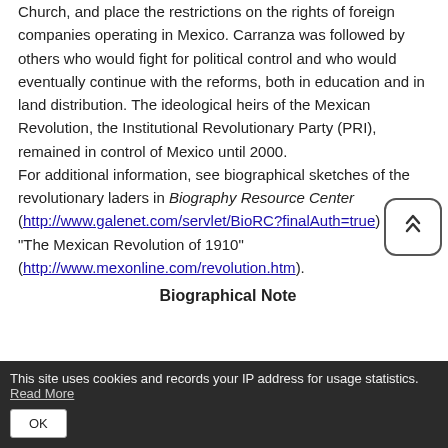Church, and place the restrictions on the rights of foreign companies operating in Mexico.  Carranza was followed by others who would fight for political control and who would eventually continue with the reforms, both in education and in land distribution.  The ideological heirs of the Mexican Revolution, the Institutional Revolutionary Party (PRI), remained in control of Mexico until 2000.
For additional information, see biographical sketches of the revolutionary laders in Biography Resource Center (http://www.galenet.com/servlet/BioRC?finalAuth=true) and “The Mexican Revolution of 1910” (http://www.mexonline.com/revolution.htm).
Biographical Note
This site uses cookies and records your IP address for usage statistics. Read More OK